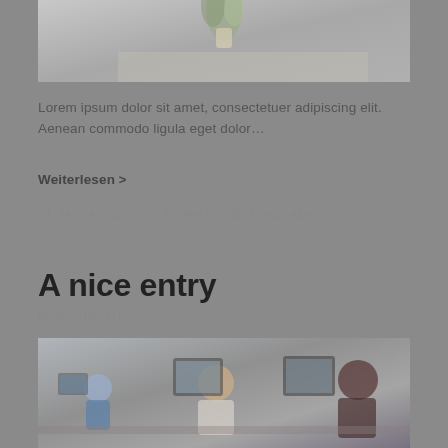[Figure (photo): Partial top image showing a desk with a plant and notebook, cropped at top of page]
Lorem ipsum dolor sit amet, consectetuer adipiscing elit. Aenean commodo ligula eget dolor…
Weiterlesen >
24. JANUAR 2015 / 0 KOMMENTARE / VON ADMIN
A nice entry
NEWS, UNCATEGORIZED
[Figure (photo): Office scene with multiple people working at computers, partially visible at bottom of page]